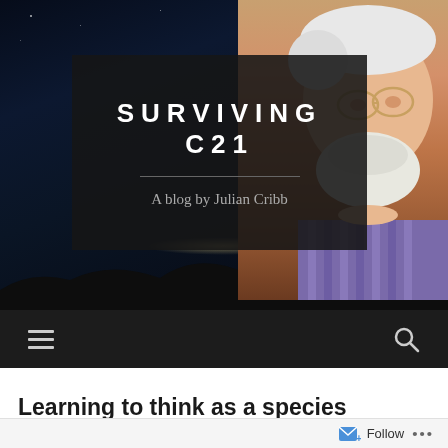[Figure (screenshot): Blog header image with dark night sky background, lake reflection, silhouetted hills, rainbow arc in top right, and photo of an older man with white beard and glasses on the right side. A dark semi-transparent box contains the blog title and subtitle.]
SURVIVING C21
A blog by Julian Cribb
[Figure (other): Navigation bar with hamburger menu icon on the left and search (magnifying glass) icon on the right, on dark background.]
Learning to think as a species
Follow ...